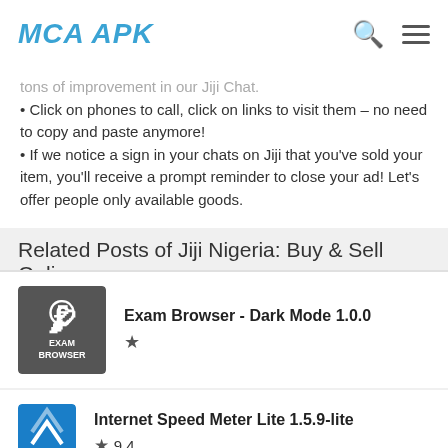MCA APK
tons of improvement in our Jiji Chat.
• Click on phones to call, click on links to visit them – no need to copy and paste anymore!
• If we notice a sign in your chats on Jiji that you've sold your item, you'll receive a prompt reminder to close your ad! Let's offer people only available goods.
Related Posts of Jiji Nigeria: Buy & Sell Online
Exam Browser - Dark Mode 1.0.0
[Figure (logo): Exam Browser app icon - dark gray background with stylized F letter and EXAM BROWSER text]
Internet Speed Meter Lite 1.5.9-lite
[Figure (logo): Internet Speed Meter Lite app icon - blue background with download/upload arrows]